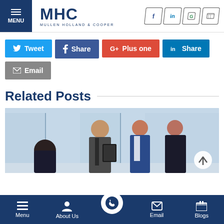MHC Mullen Holland & Cooper - Menu, social icons (Facebook, LinkedIn, Google, Phone)
Tweet
Share
Plus one
Share
Email
Related Posts
[Figure (photo): Three business professionals standing in a modern office with glass walls, one man and two women, the man holding a folder/clipboard, appearing to have a meeting or discussion. A fourth person is partially visible seated in the background.]
Menu | About Us | (phone call button) | Email | Blogs